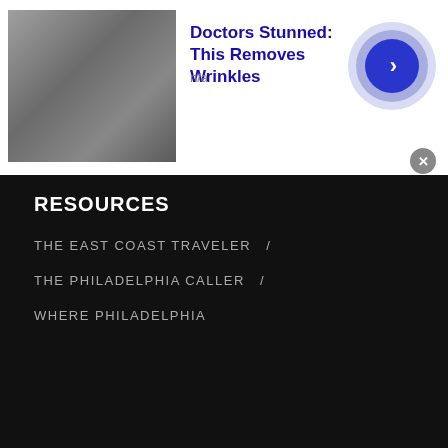[Figure (infographic): Advertisement banner: thumbnail photo of wrinkled skin (nose/lips area), blue bold title 'Doctors Stunned: This Removes Wrinkles', text 'n/a', blue circular arrow button, gray close button]
RESOURCES
THE EAST COAST TRAVELER   /
THE PHILADELPHIA CALLER   /
WHERE PHILADELPHIA
Copyright © 2022 Joomla!. All Rights Reserved. Powered by PhillyBite Magazine - Designed by JoomlArt.com.
[Figure (infographic): Advertisement banner (bottom): thumbnail photo of wrinkled skin (nose/lips area), blue bold title 'Doctors Stunned: This Removes Wrinkles', text 'n/a', blue circular arrow button, gray close button]